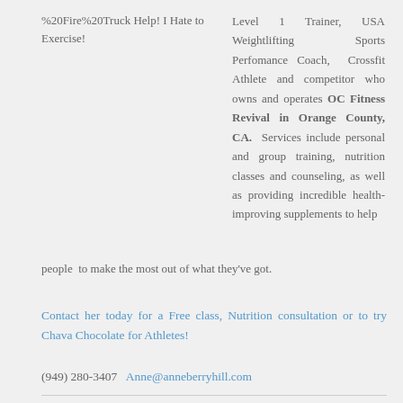%20Fire%20Truck Help! I Hate to Exercise!
Level 1 Trainer, USA Weightlifting Sports Perfomance Coach, Crossfit Athlete and competitor who owns and operates OC Fitness Revival in Orange County, CA. Services include personal and group training, nutrition classes and counseling, as well as providing incredible health-improving supplements to help people to make the most out of what they've got.
Contact her today for a Free class, Nutrition consultation or to try Chava Chocolate for Athletes!
(949) 280-3407  Anne@anneberryhill.com